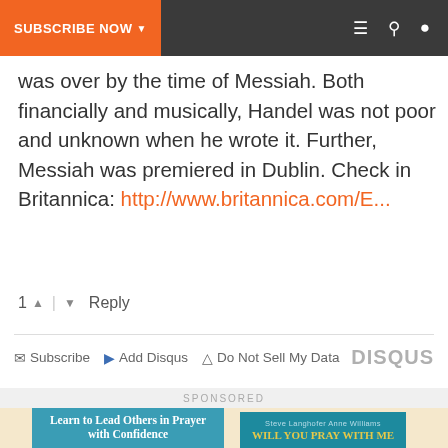SUBSCRIBE NOW | [menu] [search] [user]
was over by the time of Messiah. Both financially and musically, Handel was not poor and unknown when he wrote it. Further, Messiah was premiered in Dublin. Check in Britannica: http://www.britannica.com/E...
1 ^ | v Reply
Subscribe | Add Disqus | Do Not Sell My Data | DISQUS
SPONSORED
[Figure (illustration): Two book covers side by side on a beige background. Left: teal cover reading 'Learn to Lead Others in Prayer with Confidence'. Right: teal cover by Steve Langhofer and Anne Williams reading 'WILL YOU PRAY WITH ME'.]